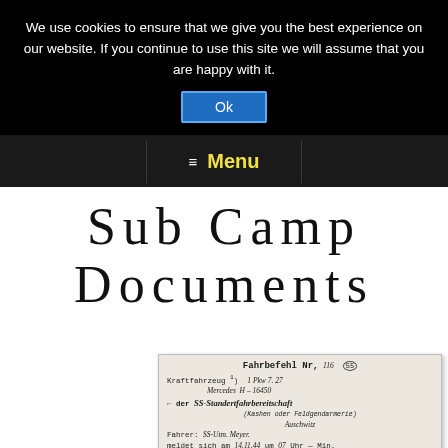We use cookies to ensure that we give you the best experience on our website. If you continue to use this site we will assume that you are happy with it.
Ok
☰ Menu
Sub Camp Documents
[Figure (photo): Scanned historical document: Fahrbefehl Nr. 116, showing a vehicle order form with handwritten entries including Kraftfahrzeug, Mercedes, SS-Standertfahrbereitschaft, Auschlitz, Fahrer: SS-Utm. Meyer, meldet sich am 14.11.44, um 07 Uhr, Min., in (Ort): K.L. Auschwitz]